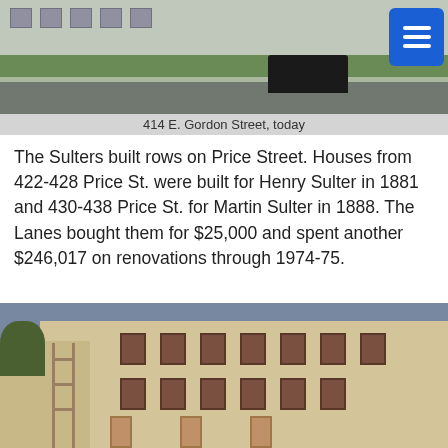[Figure (photo): Photograph of 414 E. Gordon Street today, showing a street-level view of a building with a dark car parked nearby and trees/greenery visible. A blue hamburger menu button overlay is in the top right corner.]
414 E. Gordon Street, today
The Sulters built rows on Price Street. Houses from 422-428 Price St. were built for Henry Sulter in 1881 and 430-438 Price St. for Martin Sulter in 1888. The Lanes bought them for $25,000 and spent another $246,017 on renovations through 1974-75.
[Figure (photo): Historic photograph of a row of brick townhouses under renovation, showing scaffolding on the left side, multiple floors of windows, and construction activity. The buildings appear to be from the late 19th century.]